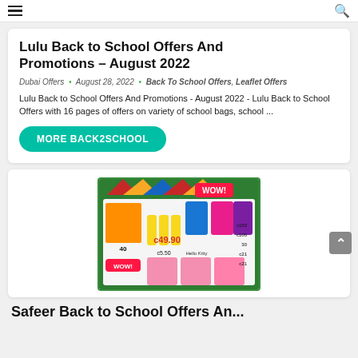[hamburger menu] [search icon]
Lulu Back to School Offers And Promotions – August 2022
Dubai Offers · August 28, 2022 · Back To School Offers, Leaflet Offers
Lulu Back to School Offers And Promotions - August 2022 - Lulu Back to School Offers with 16 pages of offers on variety of school bags, school ...
MORE BACK2SCHOOL
[Figure (photo): Leaflet image showing school bags, trolley bags, stationery and back to school promotional offers from Lulu hypermarket, August 2022. Features Hello Kitty and other branded school bags with prices like 40, 5.50, 49.90, 150, 100, 30, 21.]
Safeer Back to School Offers And ...